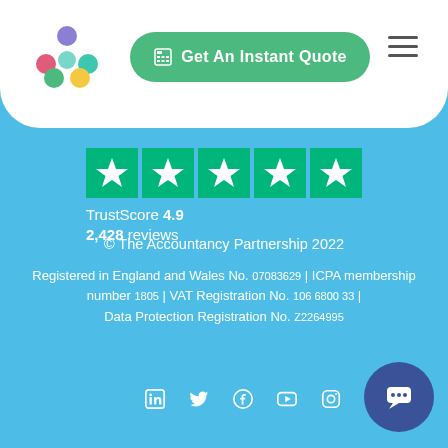[Figure (logo): Colourful dot/circle logo for The Accountancy Partnership]
[Figure (other): Get An Instant Quote green button with calculator icon]
[Figure (other): Hamburger menu icon (three horizontal lines)]
[Figure (other): Trustpilot 5 green star boxes with white stars]
TrustScore 4.9
2,428 reviews
© The Accountancy Partnership 2022
Registered in England and Wales No. 07083629 | ICPA membership number 1805 | VAT Registration No. 106 6800 33 | Data Protection Registration No. Z2264995
[Figure (other): Social media icons: LinkedIn, Twitter, Facebook, YouTube, Instagram]
[Figure (other): Dark blue circular chat/support button with chat icon]